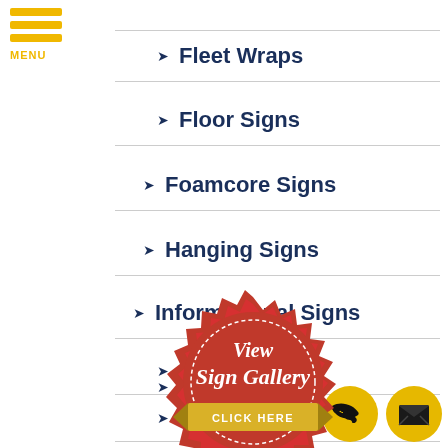Fleet Wraps
Floor Signs
Foamcore Signs
Hanging Signs
Informational Signs
LED Signs
Banners
Lighted Signs
[Figure (illustration): Red badge seal with 'View Sign Gallery' text and gold ribbon banner saying 'CLICK HERE']
[Figure (illustration): Yellow circle button with phone icon and yellow circle button with mail/envelope icon]